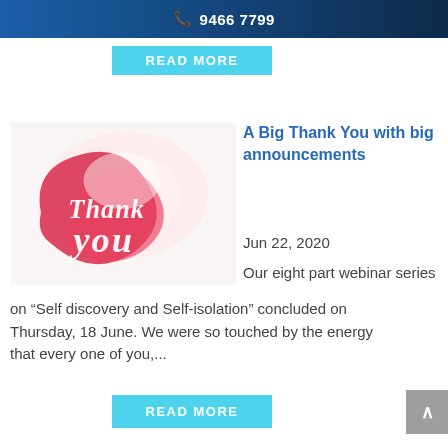📞 9466 7799
READ MORE
[Figure (illustration): Thank You image — white background with a red/pink abstract shape and cursive 'Thank you' text in white]
A Big Thank You with big announcements
Jun 22, 2020
Our eight part webinar series on “Self discovery and Self-isolation” concluded on Thursday, 18 June. We were so touched by the energy that every one of you,...
READ MORE